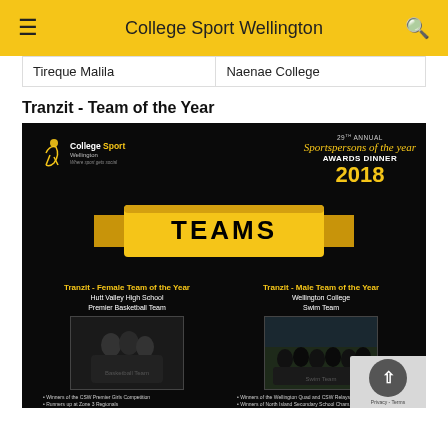College Sport Wellington
| Tireque Malila | Naenae College |
Tranzit - Team of the Year
[Figure (photo): 29th Annual Sportspersons of the Year Awards Dinner 2018 - TEAMS. Shows Tranzit Female Team of the Year (Hutt Valley High School Premier Basketball Team) and Tranzit Male Team of the Year (Wellington College Swim Team) on a black background with gold ribbon banner.]